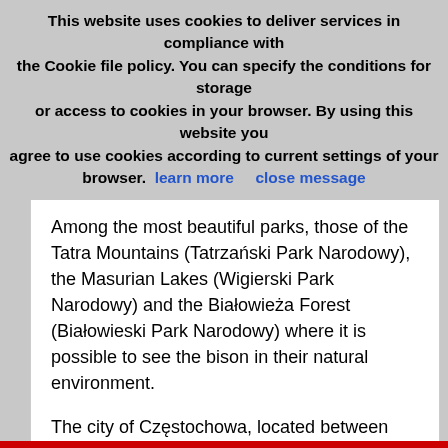This website uses cookies to deliver services in compliance with the Cookie file policy. You can specify the conditions for storage or access to cookies in your browser. By using this website you agree to use cookies according to current settings of your browser. learn more   close message
Among the most beautiful parks, those of the Tatra Mountains (Tatrzański Park Narodowy), the Masurian Lakes (Wigierski Park Narodowy) and the Białowieża Forest (Białowieski Park Narodowy) where it is possible to see the bison in their natural environment.
The city of Częstochowa, located between Wroclaw and Krakow, attracts pilgrims and tourists from all over the world, and is often called the religious capital of Poland. Its main attraction is the Jasna Góra Monastery which preserves the effigy of the Black Madonna.